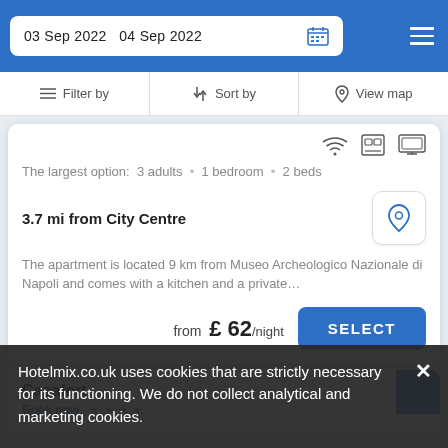03 Sep 2022  04 Sep 2022
Filter by  Sort by  View map
The largest option:  3 adults · 1 bedroom · 2 beds
3.7 mi from City Centre
The apartment is located 9 km from Museo Archeologico Nazionale di Napoli and comes with a kitchen and a private…
from £ 62/night
Casafort
Hotelmix.co.uk uses cookies that are strictly necessary for its functioning. We do not collect analytical and marketing cookies.